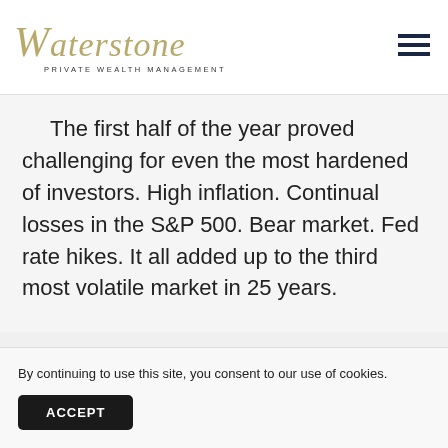[Figure (logo): Waterstone Private Wealth Management logo in gold/tan italic serif font with hamburger menu icon top right]
The first half of the year proved challenging for even the most hardened of investors. High inflation. Continual losses in the S&P 500. Bear market. Fed rate hikes. It all added up to the third most volatile market in 25 years.
By continuing to use this site, you consent to our use of cookies.